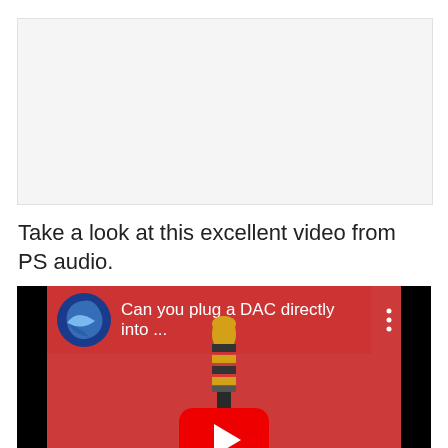[Figure (screenshot): Light gray rectangular area, likely a partially visible image or content area above the text]
Take a look at this excellent video from PS audio.
[Figure (screenshot): YouTube video embed thumbnail showing 'Can you plug a DAC directly into ...' with PS Audio logo, a 3.5mm audio jack on a red background, and YouTube play button]